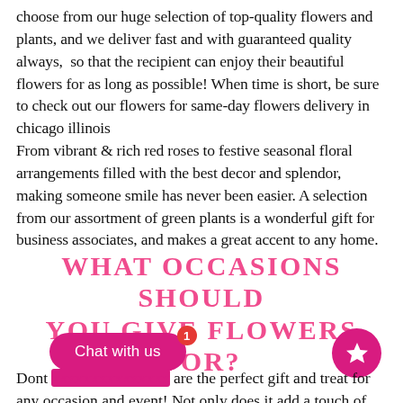choose from our huge selection of top-quality flowers and plants, and we deliver fast and with guaranteed quality always,  so that the recipient can enjoy their beautiful flowers for as long as possible! When time is short, be sure to check out our flowers for same-day flowers delivery in chicago illinois
From vibrant & rich red roses to festive seasonal floral arrangements filled with the best decor and splendor, making someone smile has never been easier. A selection from our assortment of green plants is a wonderful gift for business associates, and makes a great accent to any home.
WHAT OCCASIONS SHOULD YOU GIVE FLOWERS FOR?
[Figure (other): Pink 'Chat with us' button with red badge showing '1', and a pink circular star button on the right]
Dont [obscured], flowers are the perfect gift and treat for any occasion and event! Not only does it add a touch of beauty & natural look to